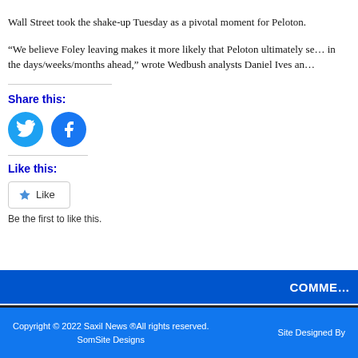Wall Street took the shake-up Tuesday as a pivotal moment for Peloton.
“We believe Foley leaving makes it more likely that Peloton ultimately se... in the days/weeks/months ahead,” wrote Wedbush analysts Daniel Ives an...
Share this:
[Figure (illustration): Twitter and Facebook social share icon buttons (circular blue icons)]
Like this:
Like
Be the first to like this.
COMMENTS
Copyright © 2022 Saxil News ®pAll rights reserved. SomSite Designs    Site Designed By